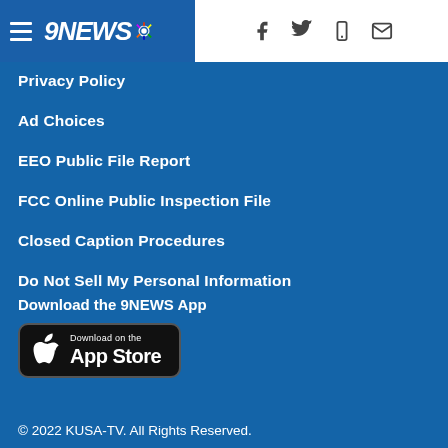[Figure (logo): 9NEWS NBC logo with hamburger menu in blue header bar, plus social/contact icons (Facebook, Twitter, mobile, email) on white right side]
Privacy Policy
Ad Choices
EEO Public File Report
FCC Online Public Inspection File
Closed Caption Procedures
Do Not Sell My Personal Information
Download the 9NEWS App
[Figure (other): Download on the App Store button (black rounded rectangle with Apple logo)]
© 2022 KUSA-TV. All Rights Reserved.